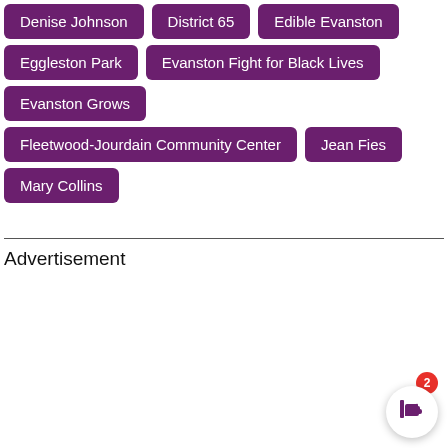Denise Johnson
District 65
Edible Evanston
Eggleston Park
Evanston Fight for Black Lives
Evanston Grows
Fleetwood-Jourdain Community Center
Jean Fies
Mary Collins
Advertisement